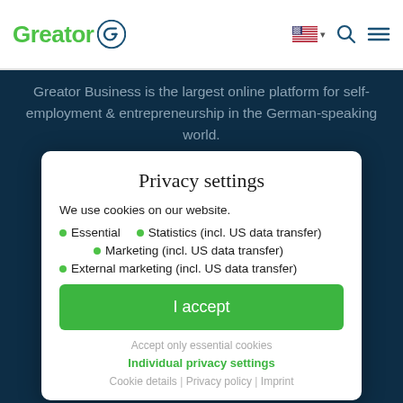Greator
Greator Business is the largest online platform for self-employment & entrepreneurship in the German-speaking world.
Privacy settings
We use cookies on our website.
Essential
Statistics (incl. US data transfer)
Marketing (incl. US data transfer)
External marketing (incl. US data transfer)
I accept
Accept only essential cookies
Individual privacy settings
Cookie details | Privacy policy | Imprint